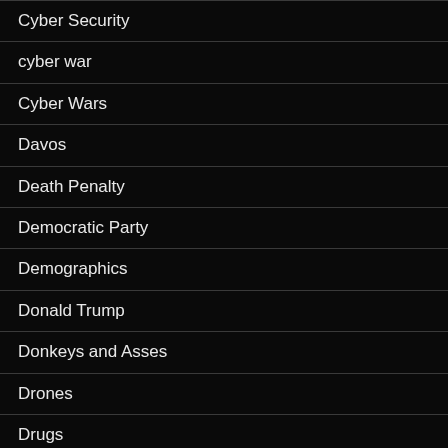Cyber Security
cyber war
Cyber Wars
Davos
Death Penalty
Democratic Party
Demographics
Donald Trump
Donkeys and Asses
Drones
Drugs
Economics